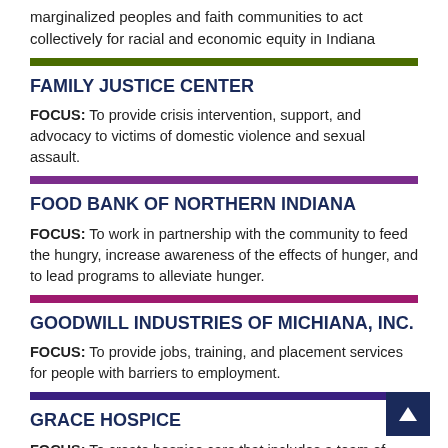marginalized peoples and faith communities to act collectively for racial and economic equity in Indiana
FAMILY JUSTICE CENTER
FOCUS: To provide crisis intervention, support, and advocacy to victims of domestic violence and sexual assault.
FOOD BANK OF NORTHERN INDIANA
FOCUS: To work in partnership with the community to feed the hungry, increase awareness of the effects of hunger, and to lead programs to alleviate hunger.
GOODWILL INDUSTRIES OF MICHIANA, INC.
FOCUS: To provide jobs, training, and placement services for people with barriers to employment.
GRACE HOSPICE
FOCUS: To create hospice care that includes a team of doctors, nurses, social workers, counselors, aides, chaplains, and trained volunteers who work together for an intimate, therapeutic, and